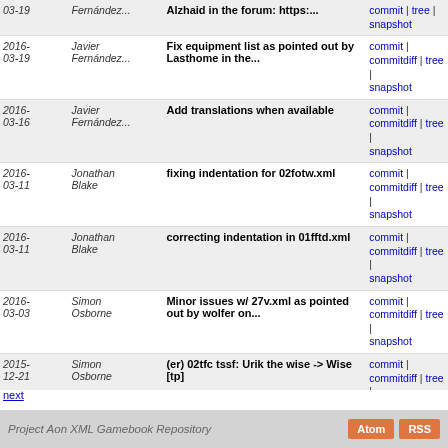| Date | Author | Message | Links |
| --- | --- | --- | --- |
| 2016-03-19 | Fernández... | Alzhaid in the forum: https:... | commit | commitdiff | tree | snapshot |
| 2016-03-19 | Javier Fernández... | Fix equipment list as pointed out by Lasthome in the... | commit | commitdiff | tree | snapshot |
| 2016-03-16 | Javier Fernández... | Add translations when available | commit | commitdiff | tree | snapshot |
| 2016-03-11 | Jonathan Blake | fixing indentation for 02fotw.xml | commit | commitdiff | tree | snapshot |
| 2016-03-11 | Jonathan Blake | correcting indentation in 01fftd.xml | commit | commitdiff | tree | snapshot |
| 2016-03-03 | Simon Osborne | Minor issues w/ 27v.xml as pointed out by wolfer on... | commit | commitdiff | tree | snapshot |
| 2015-12-21 | Simon Osborne | (er) 02tfc tssf: Urik the wise -> Wise [tp] | commit | commitdiff | tree | snapshot |
| 2015-12-01 | Simon Osborne | Footnote Removal (Book 22); Checkerrata issue (Book 24) | commit | commitdiff | tree | snapshot |
| 2015-11-22 | Simon Osborne | Footnotes Removal (21-28) and GW Bow Bonus Standardisat... | commit | commitdiff | tree | snapshot |
| 2015-11-14 | Simon Osborne | (er) 06tkot 88: a honest -> an honest [so: (cf. Section... | commit | commitdiff | tree | snapshot |
next
Project Aon XML Gamebook Repository